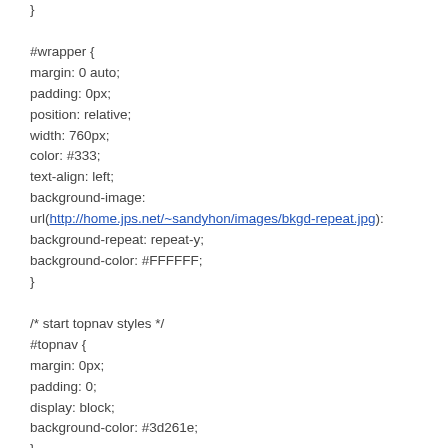}

#wrapper {
margin: 0 auto;
padding: 0px;
position: relative;
width: 760px;
color: #333;
text-align: left;
background-image:
url(http://home.jps.net/~sandyhon/images/bkgd-repeat.jpg):
background-repeat: repeat-y;
background-color: #FFFFFF;
}

/* start topnav styles */
#topnav {
margin: 0px;
padding: 0;
display: block;
background-color: #3d261e;
}

#topnav ul {
margin: 0px;
padding: 0px;